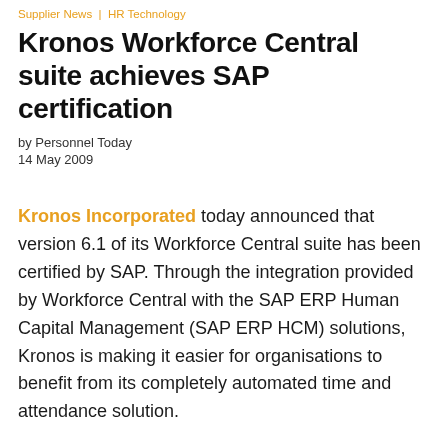Supplier News  |  HR Technology
Kronos Workforce Central suite achieves SAP certification
by Personnel Today
14 May 2009
Kronos Incorporated today announced that version 6.1 of its Workforce Central suite has been certified by SAP. Through the integration provided by Workforce Central with the SAP ERP Human Capital Management (SAP ERP HCM) solutions, Kronos is making it easier for organisations to benefit from its completely automated time and attendance solution.